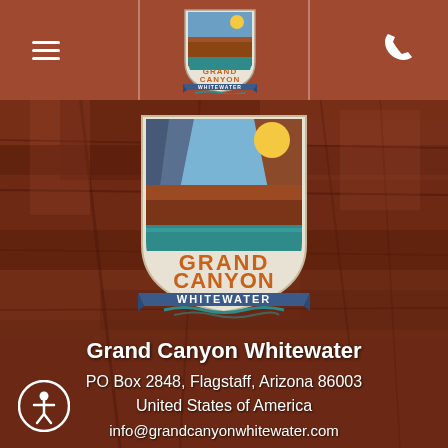[Figure (screenshot): Grand Canyon Whitewater website screenshot showing navigation bar with hamburger menu, logo, and phone icon at top, followed by large Grand Canyon Whitewater logo badge over rocky canyon background photo, with contact information and Guest Login link below.]
Grand Canyon Whitewater
PO Box 2848, Flagstaff, Arizona 86003
United States of America
info@grandcanyonwhitewater.com
800.343.3121
Guest Login